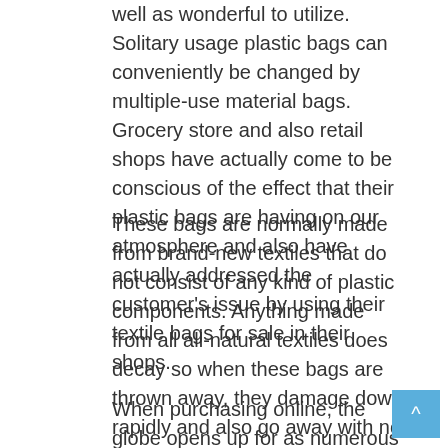well as wonderful to utilize. Solitary usage plastic bags can conveniently be changed by multiple-use material bags. Grocery store and also retail shops have actually come to be conscious of the effect that their plastic bags are having on our atmosphere and also have actually addressed the customer's issue by using their textile bags for sale in their shops.
These bags are normally made from brand-new textiles that do not consist of any kind of plastic components. Anything made from all all-natural textiles does decay so when these bags are thrown away, they damage down rapidly and also go away with no damages to the atmosphere around them.
When purchasing online, the globe opens up for as numerous kinds of material present bags as you